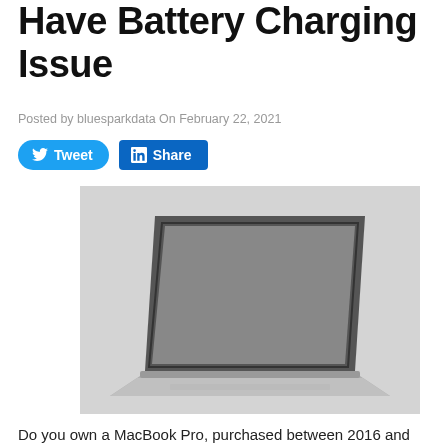Have Battery Charging Issue
Posted by bluesparkdata On February 22, 2021
[Figure (photo): MacBook Pro laptop with open screen displayed on a gray background]
Do you own a MacBook Pro, purchased between 2016 and 2017? Has the battery been acting up and refusing to hold a charge beyond 1 percent? If you've ruled out issues with the